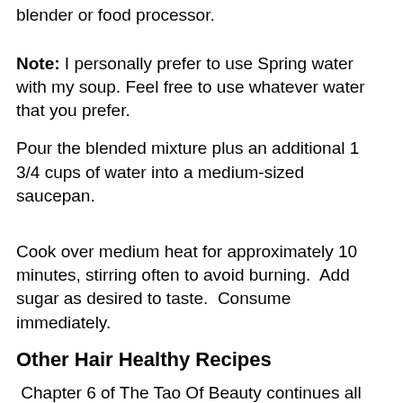blender or food processor.
Note: I personally prefer to use Spring water with my soup. Feel free to use whatever water that you prefer.
Pour the blended mixture plus an additional 1 3/4 cups of water into a medium-sized saucepan.
Cook over medium heat for approximately 10 minutes, stirring often to avoid burning.  Add sugar as desired to taste.  Consume immediately.
Other Hair Healthy Recipes
Chapter 6 of The Tao Of Beauty continues all five different hair